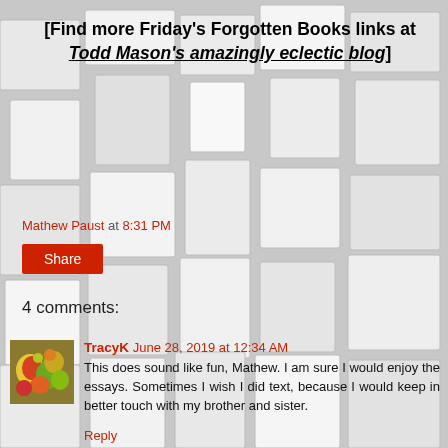[Figure (illustration): 3D white/gray cube tile mosaic background pattern]
[Find more Friday's Forgotten Books links at Todd Mason's amazingly eclectic blog]
Mathew Paust at 8:31 PM
Share
4 comments:
TracyK June 28, 2019 at 12:34 AM
This does sound like fun, Mathew. I am sure I would enjoy the essays. Sometimes I wish I did text, because I would keep in better touch with my brother and sister.
Reply